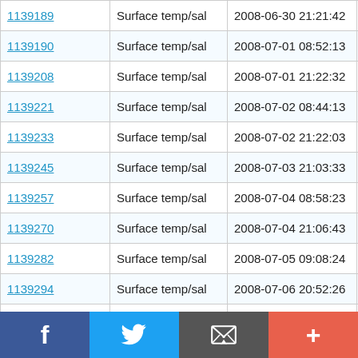| ID | Type | Datetime | Lat |
| --- | --- | --- | --- |
| 1139189 | Surface temp/sal | 2008-06-30 21:21:42 | 53.337 N |
| 1139190 | Surface temp/sal | 2008-07-01 08:52:13 | 53.329 N |
| 1139208 | Surface temp/sal | 2008-07-01 21:22:32 | 53.337 N |
| 1139221 | Surface temp/sal | 2008-07-02 08:44:13 | 53.329 N |
| 1139233 | Surface temp/sal | 2008-07-02 21:22:03 | 53.337 N |
| 1139245 | Surface temp/sal | 2008-07-03 21:03:33 | 53.33 N |
| 1139257 | Surface temp/sal | 2008-07-04 08:58:23 | 53.336 N |
| 1139270 | Surface temp/sal | 2008-07-04 21:06:43 | 53.33 N |
| 1139282 | Surface temp/sal | 2008-07-05 09:08:24 | 53.327 N |
| 1139294 | Surface temp/sal | 2008-07-06 20:52:26 | 53.329 N |
| 1139374 | Surface temp/sal | 2008-07-07 21:22:01 | 53.336 N |